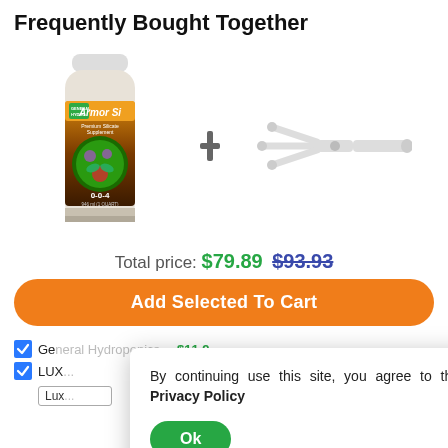Frequently Bought Together
[Figure (photo): General Hydroponics Armor Si Premium Silicate Supplement bottle (0-0-4, 946ml/1 Quart) and a white plastic Y-connector/manifold fitting]
Total price: $79.89 $93.93
Add Selected To Cart
General Hydroponics ... $11.9...
LUX...
By continuing use this site, you agree to the Privacy Policy
Ok